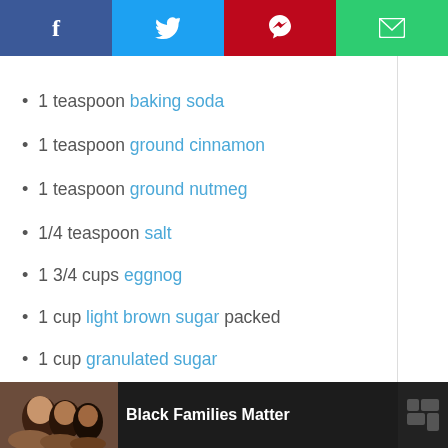[Figure (other): Social share bar with Facebook (blue), Twitter (light blue), Pinterest (red), Email (green) buttons]
1 teaspoon baking soda
1 teaspoon ground cinnamon
1 teaspoon ground nutmeg
1/4 teaspoon salt
1 3/4 cups eggnog
1 cup light brown sugar packed
1 cup granulated sugar
3 large eggs
7 Tablespoons unsalted butter melted and slightly cooled
WHAT'S NEXT → Eggnog Cinnamon...
[Figure (infographic): Advertisement bar at bottom: Black Families Matter with photo of family and logo]
57